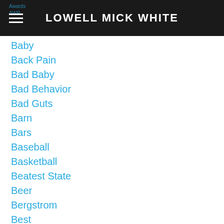LOWELL MICK WHITE
Baby
Back Pain
Bad Baby
Bad Behavior
Bad Guts
Barn
Bars
Baseball
Basketball
Beatest State
Beer
Bergstrom
Best
Big LAAH
Big Tex
Big Tex[t]
Birth